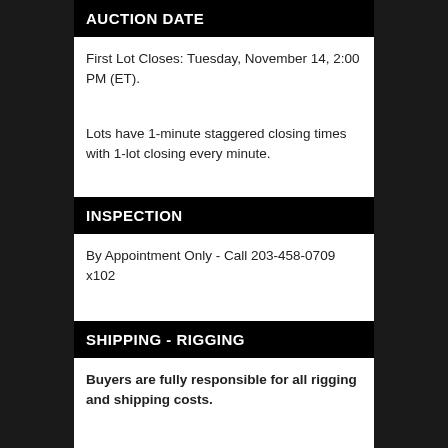AUCTION DATE
First Lot Closes: Tuesday, November 14, 2:00 PM (ET).
Lots have 1-minute staggered closing times with 1-lot closing every minute.
INSPECTION
By Appointment Only - Call 203-458-0709 x102
SHIPPING - RIGGING
Buyers are fully responsible for all rigging and shipping costs.